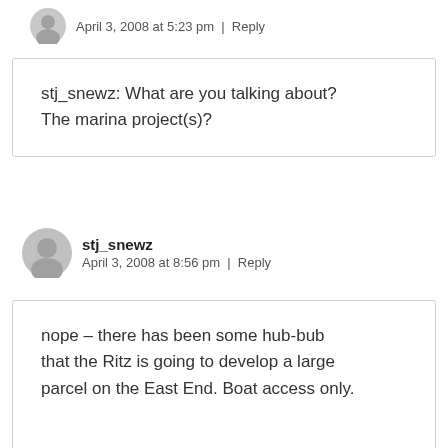April 3, 2008 at 5:23 pm | Reply
stj_snewz: What are you talking about? The marina project(s)?
stj_snewz
April 3, 2008 at 8:56 pm | Reply
nope – there has been some hub-bub that the Ritz is going to develop a large parcel on the East End. Boat access only.